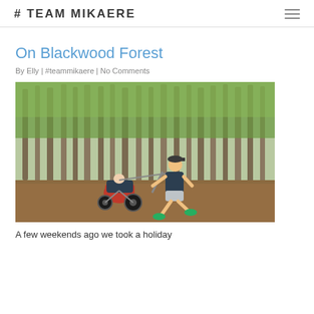# TEAM MIKAERE
On Blackwood Forest
By Elly | #teammikaere | No Comments
[Figure (photo): A man running through a forest while pushing a red jogging stroller/buggy on a leaf-covered ground, surrounded by tall trees with green foliage.]
A few weekends ago we took a holiday